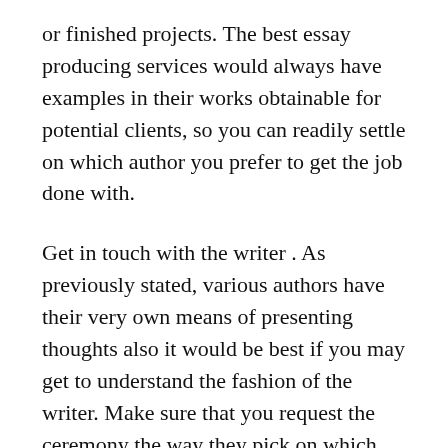or finished projects. The best essay producing services would always have examples in their works obtainable for potential clients, so you can readily settle on which author you prefer to get the job done with.
Get in touch with the writer . As previously stated, various authors have their very own means of presenting thoughts also it would be best if you may get to understand the fashion of the writer. Make sure that you request the ceremony the way they pick on which topic to go after for your document. Some informative article writing services can offer only a single issue, though some may allow you a choice between several issues that you can discuss with them.